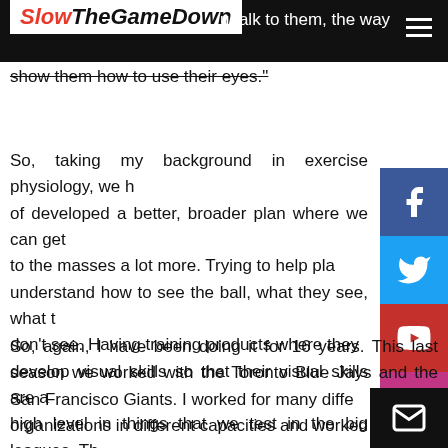SlowTheGameDown
u talk to them, the way you show them how to use their eyes."
So, taking my background in exercise physiology, we have kind of developed a better, broader plan where we can get this out to the masses a lot more. Trying to help players understand how to see the ball, what they see, what they don't see. Having training products where they can develop visual skills so that their visual skills are at a high level in things that we test in the big leagues. That all players are all able to get to that level.
So, again, I have been doing it for 16 years. This last season we worked with the Toronto Blue Jays and the San Francisco Giants. I worked for many different organizations in different capacities and worked with a